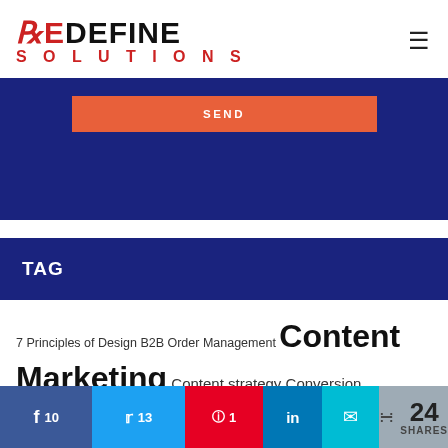[Figure (logo): Redefine Solutions logo: RE in red, DEFINE in black bold, SOLUTIONS in red spaced below]
[Figure (screenshot): Blue background area with orange SEND button]
TAG
7 Principles of Design B2B Order Management Content Marketing Content strategy Conversion rate Conversion rate optimization Customer satisfaction Customer Satisfaction Strategy Customer Service Design Digital Marketing E-commerce
[Figure (infographic): Social share bar: Facebook 10, Twitter 13, Pinterest 1, LinkedIn, Email, 24 SHARES]